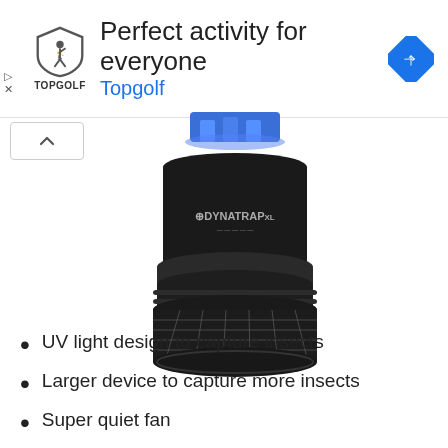[Figure (screenshot): Topgolf advertisement banner with shield logo, text 'Perfect activity for everyone' and 'Topgolf', and a blue diamond navigation arrow icon on the right]
[Figure (photo): DynaTrap XL insect trap device with black cylindrical body, UV blue light at top, mesh basket at bottom, and DynaTrap logo on the body]
UV light design to capture insects
Larger device to capture more insects
Super quiet fan